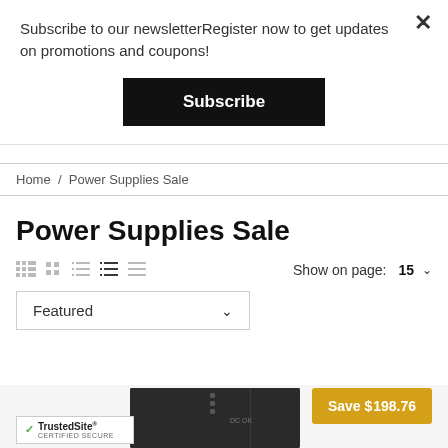Subscribe to our newsletterRegister now to get updates on promotions and coupons!
Subscribe
Home / Power Supplies Sale
Power Supplies Sale
Show on page: 15
Featured
[Figure (photo): Dark power supply unit product image]
Save $198.76
[Figure (logo): TrustedSite Certified Secure badge]